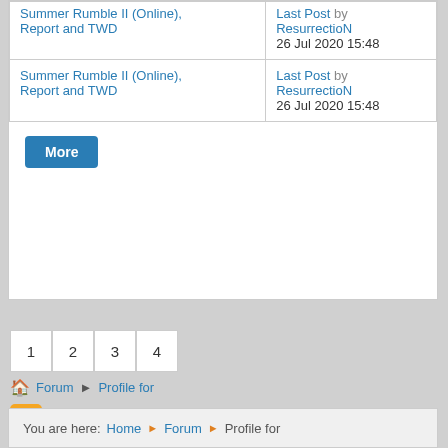| Topic | Last Post |
| --- | --- |
| Summer Rumble II (Online), Report and TWD | Last Post by ResurrectioN
26 Jul 2020 15:48 |
| Summer Rumble II (Online), Report and TWD | Last Post by ResurrectioN
26 Jul 2020 15:48 |
More
1 2 3 4
Forum ▸ Profile for
Time to create page: 0.167 seconds
Powered by Kunena Forum
You are here: Home ▶ Forum ▶ Profile for